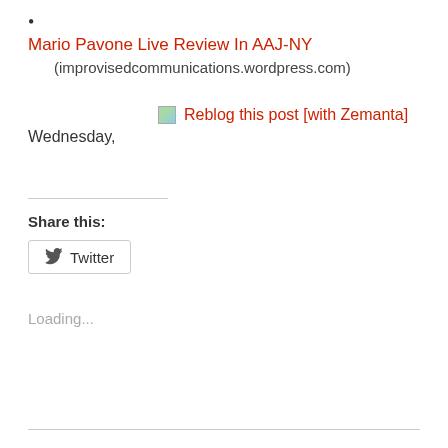Mario Pavone Live Review In AAJ-NY
(improvisedcommunications.wordpress.com)
[Figure (illustration): Reblog this post [with Zemanta] image icon followed by red text link]
Wednesday,
Share this:
[Figure (screenshot): Twitter share button with bird icon]
Loading...